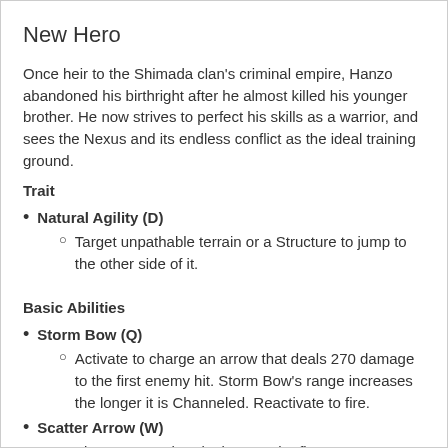New Hero
Once heir to the Shimada clan's criminal empire, Hanzo abandoned his birthright after he almost killed his younger brother. He now strives to perfect his skills as a warrior, and sees the Nexus and its endless conflict as the ideal training ground.
Trait
Natural Agility (D)
Target unpathable terrain or a Structure to jump to the other side of it.
Basic Abilities
Storm Bow (Q)
Activate to charge an arrow that deals 270 damage to the first enemy hit. Storm Bow's range increases the longer it is Channeled. Reactivate to fire.
Scatter Arrow (W)
Fire an arrow that deals 85 to the first enemy Hero hit. Scatter Arrow can collide with terrain and Structures, splitting into 5 arrows that travel extra